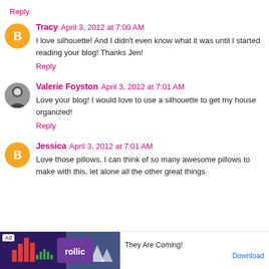Reply
Tracy  April 3, 2012 at 7:00 AM
I love silhouette! And I didn't even know what it was until I started reading your blog! Thanks Jen!
Reply
Valerie Foyston  April 3, 2012 at 7:01 AM
Love your blog! I would love to use a silhouette to get my house organized!
Reply
Jessica  April 3, 2012 at 7:01 AM
Love those pillows. I can think of so many awesome pillows to make with this, let alone all the other great things
They Are Coming!
Download